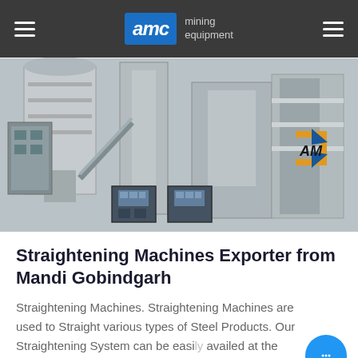AMC mining equipment
[Figure (photo): Industrial machinery photo showing mining/processing equipment with silos, conveyor systems, and control panels. AMC logo visible on the right side.]
Straightening Machines Exporter from Mandi Gobindgarh
Straightening Machines. Straightening Machines are used to Straight various types of Steel Products. Our Straightening System can be easily availed at the most nominal prices. The